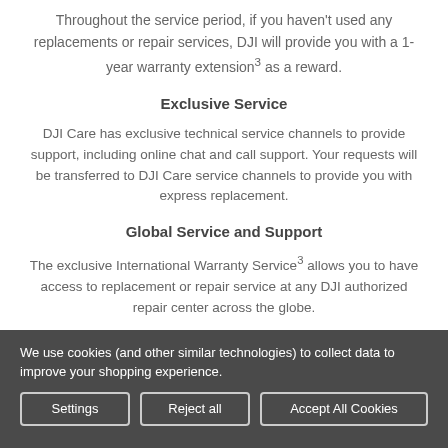Throughout the service period, if you haven't used any replacements or repair services, DJI will provide you with a 1-year warranty extension³ as a reward.
Exclusive Service
DJI Care has exclusive technical service channels to provide support, including online chat and call support. Your requests will be transferred to DJI Care service channels to provide you with express replacement.
Global Service and Support
The exclusive International Warranty Service³ allows you to have access to replacement or repair service at any DJI authorized repair center across the globe.
We use cookies (and other similar technologies) to collect data to improve your shopping experience.